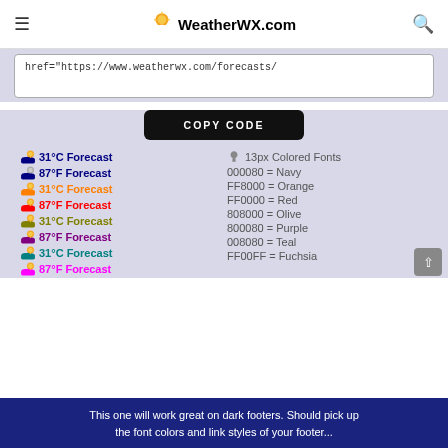WeatherWX.com
href="https://www.weatherwx.com/forecasts/
COPY CODE
31°C Forecast   13px Colored Fonts
87°F Forecast   000080 = Navy
31°C Forecast   FF8000 = Orange
87°F Forecast   FF0000 = Red
31°C Forecast   808000 = Olive
87°F Forecast   800080 = Purple
31°C Forecast   008080 = Teal
87°F Forecast   FF00FF = Fuchsia
This one will work great on dark footers. Should pick up the font colors and link styles of your footer...